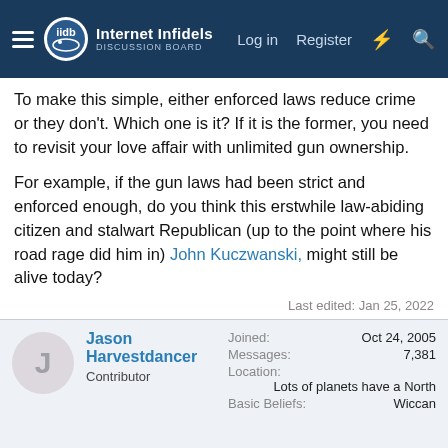Internet Infidels — Log in | Register
To make this simple, either enforced laws reduce crime or they don't. Which one is it? If it is the former, you need to revisit your love affair with unlimited gun ownership.
For example, if the gun laws had been strict and enforced enough, do you think this erstwhile law-abiding citizen and stalwart Republican (up to the point where his road rage did him in) John Kuczwanski, might still be alive today?
Last edited: Jan 25, 2022
Jason Harvestdancer
Contributor
Joined: Oct 24, 2005
Messages: 7,381
Location: Lots of planets have a North
Basic Beliefs: Wiccan
This site uses cookies to help personalise content, tailor your experience and to keep you logged in if you register.
By continuing to use this site, you are consenting to our use of cookies.
Accept  Learn more...